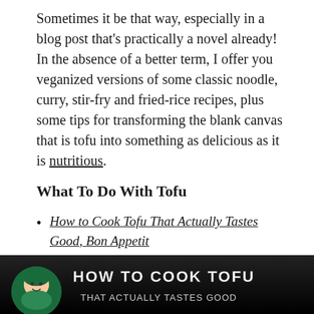Sometimes it be that way, especially in a blog post that's practically a novel already! In the absence of a better term, I offer you veganized versions of some classic noodle, curry, stir-fry and fried-rice recipes, plus some tips for transforming the blank canvas that is tofu into something as delicious as it is nutritious.
What To Do With Tofu
How to Cook Tofu That Actually Tastes Good, Bon Appetit
How to Make Tofu Look and Taste Like Chicken
All About Tofu by The Joyful Vegan
[Figure (screenshot): Screenshot of a video thumbnail showing 'HOW TO COOK TOFU' text on a dark/black background with a cartoon character avatar on the left side.]